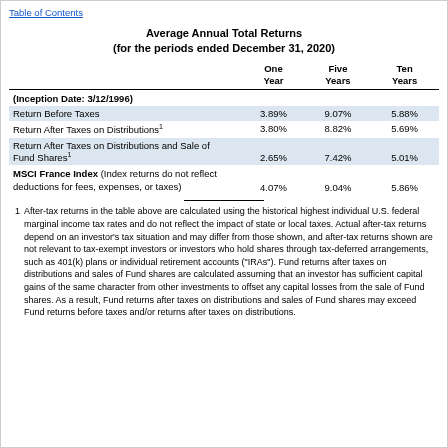Table of Contents
Average Annual Total Returns (for the periods ended December 31, 2020)
|  | One Year | Five Years | Ten Years |
| --- | --- | --- | --- |
| (Inception Date: 3/12/1996) |  |  |  |
| Return Before Taxes | 3.89% | 9.07% | 5.88% |
| Return After Taxes on Distributions¹ | 3.80% | 8.82% | 5.69% |
| Return After Taxes on Distributions and Sale of Fund Shares¹ | 2.65% | 7.42% | 5.01% |
| MSCI France Index (Index returns do not reflect deductions for fees, expenses, or taxes) | 4.07% | 9.04% | 5.86% |
After-tax returns in the table above are calculated using the historical highest individual U.S. federal marginal income tax rates and do not reflect the impact of state or local taxes. Actual after-tax returns depend on an investor’s tax situation and may differ from those shown, and after-tax returns shown are not relevant to tax-exempt investors or investors who hold shares through tax-deferred arrangements, such as 401(k) plans or individual retirement accounts (“IRAs”). Fund returns after taxes on distributions and sales of Fund shares are calculated assuming that an investor has sufficient capital gains of the same character from other investments to offset any capital losses from the sale of Fund shares. As a result, Fund returns after taxes on distributions and sales of Fund shares may exceed Fund returns before taxes and/or returns after taxes on distributions.